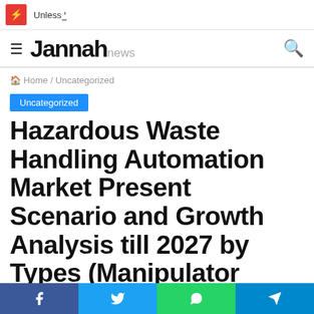Unless '
Jannah news
Home / Uncategorized
Uncategorized
Hazardous Waste Handling Automation Market Present Scenario and Growth Analysis till 2027 by Types (Manipulator Arms, Telescoping Masts, Cranes,